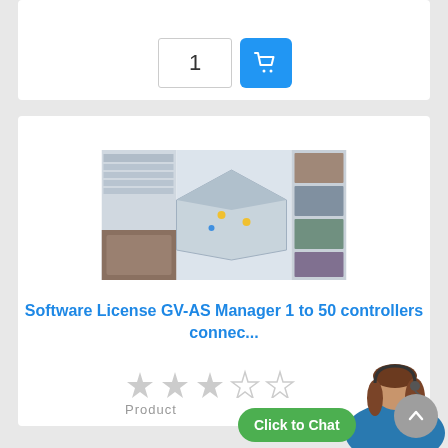[Figure (screenshot): Quantity input field showing '1' and a blue shopping cart button]
[Figure (screenshot): Product screenshot showing GV-AS Manager software interface with 3D floor plan and camera views]
Software License GV-AS Manager 1 to 50 controllers connec...
[Figure (other): Three grey stars rating display]
Product
[Figure (other): Click to Chat button with customer service representative image]